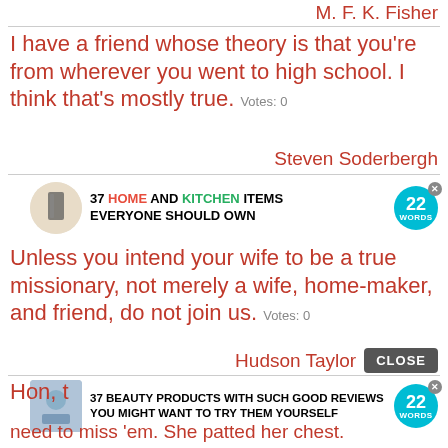M. F. K. Fisher
I have a friend whose theory is that you're from wherever you went to high school. I think that's mostly true.  Votes: 0
Steven Soderbergh
[Figure (infographic): Advertisement: 37 HOME AND KITCHEN ITEMS EVERYONE SHOULD OWN with 22 Words badge and x close button]
Unless you intend your wife to be a true missionary, not merely a wife, home-maker, and friend, do not join us.  Votes: 0
Hudson Taylor
[Figure (infographic): CLOSE button overlay and advertisement: 37 BEAUTY PRODUCTS WITH SUCH GOOD REVIEWS YOU MIGHT WANT TO TRY THEM YOURSELF with 22 Words badge]
Hon, there's no need to miss 'em. She patted her chest. "'Cause they're always right here.  Votes: 0